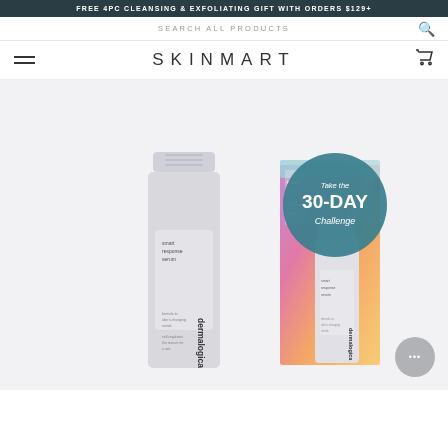FREE 4PC CLEANSING & EXFOLIATING GIFT WITH ORDERS $129+
SEARCH ALL PRODUCTS
SKINMART
[Figure (photo): Dermalogica Smart Response Serum product bottles displayed alongside product box with colorful gradient packaging and a teal circular badge reading Take the 30-DAY Challenge]